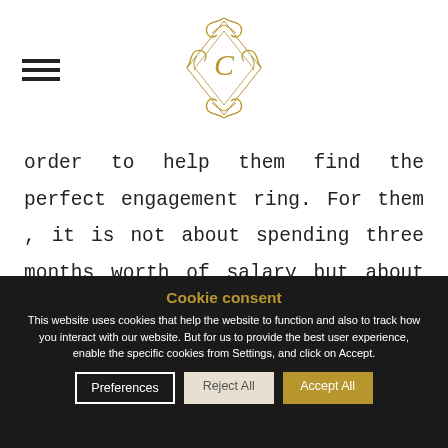C (logo)
order to help them find the perfect engagement ring. For them , it is not about spending three months worth of salary but about finding something that truly captures their partner and their relationship.
Cookie consent
This website uses cookies that help the website to function and also to track how you interact with our website. But for us to provide the best user experience, enable the specific cookies from Settings, and click on Accept.
Preferences
Reject All
Accept All